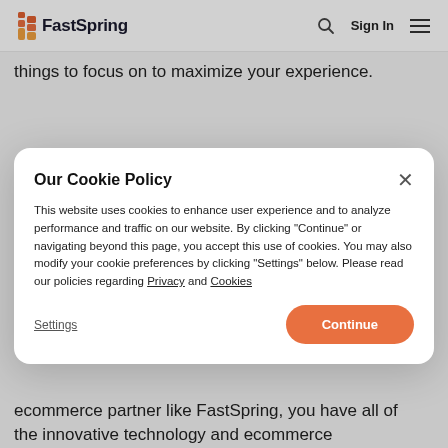FastSpring | Sign In
things to focus on to maximize your experience.
[Figure (screenshot): Cookie policy modal dialog on FastSpring website]
ecommerce partner like FastSpring, you have all of the innovative technology and ecommerce